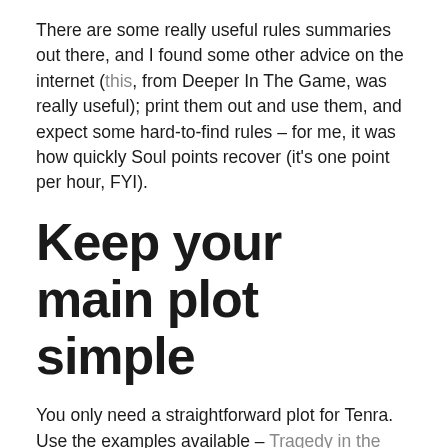There are some really useful rules summaries out there, and I found some other advice on the internet (this, from Deeper In The Game, was really useful); print them out and use them, and expect some hard-to-find rules – for me, it was how quickly Soul points recover (it's one point per hour, FYI).
Keep your main plot simple
You only need a straightforward plot for Tenra. Use the examples available – Tragedy in the Kose Art District is good, as is Lotus Blossom's Bridal Path – which I don't seem to able to find online now. Honorable mention to Rinden Snarls, which I played to get me into running it – quite a few years ago now.